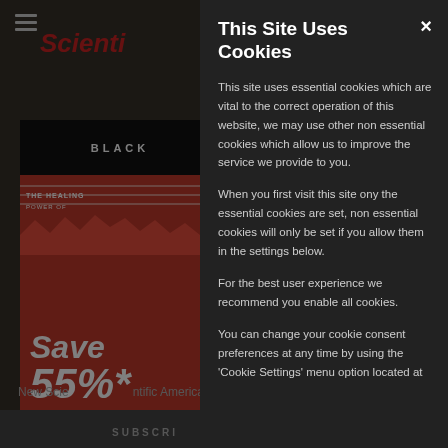[Figure (screenshot): Background screenshot of a science magazine website (New Scientist / Scientific American) showing a subscription promotion with a magazine cover featuring 'Save 55%*', partially dimmed by a dark overlay behind a cookie consent modal.]
This Site Uses Cookies
This site uses essential cookies which are vital to the correct operation of this website, we may use other non essential cookies which allow us to improve the service we provide to you.
When you first visit this site ony the essential cookies are set, non essential cookies will only be set if you allow them in the settings below.
For the best user experience we recommend you enable all cookies.
You can change your cookie consent preferences at any time by using the 'Cookie Settings' menu option located at